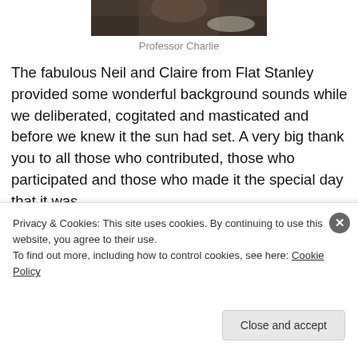[Figure (photo): Partial top photo of a person or scene, cropped at top edge]
Professor Charlie
The fabulous Neil and Claire from Flat Stanley provided some wonderful background sounds while we deliberated, cogitated and masticated and before we knew it the sun had set. A very big thank you to all those who contributed, those who participated and those who made it the special day that it was.
[Figure (photo): Partial photo with dark olive/green tones, partially obscured by cookie banner]
Privacy & Cookies: This site uses cookies. By continuing to use this website, you agree to their use. To find out more, including how to control cookies, see here: Cookie Policy
Close and accept